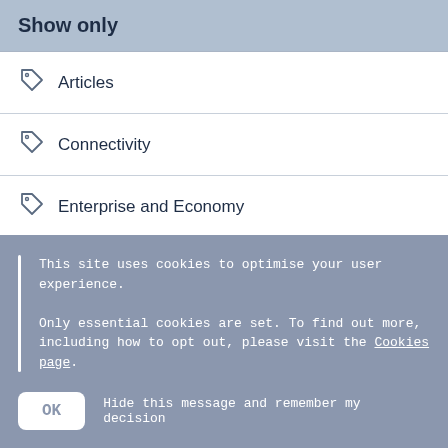Show only
Articles
Connectivity
Enterprise and Economy
Farming
Healthcare
This site uses cookies to optimise your user experience.

Only essential cookies are set. To find out more, including how to opt out, please visit the Cookies page.
OK   Hide this message and remember my decision